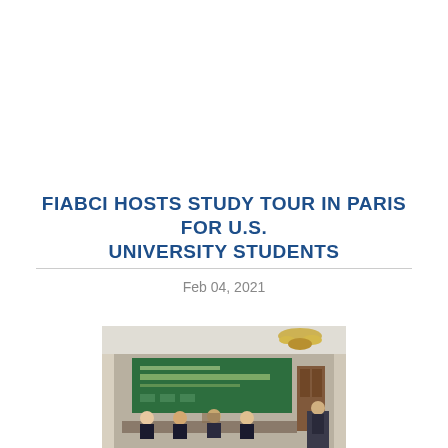FIABCI HOSTS STUDY TOUR IN PARIS FOR U.S. UNIVERSITY STUDENTS
Feb 04, 2021
[Figure (photo): Panel discussion at a conference or seminar room with multiple speakers seated at a table in front of a green banner reading 'Energy Efficiency in Buildings', with a chandelier and ornate room decor visible, and a moderator standing at a podium on the right.]